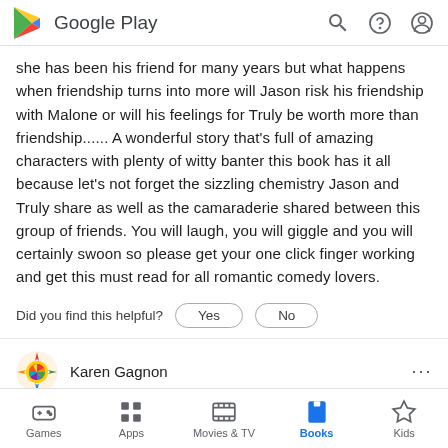Google Play
she has been his friend for many years but what happens when friendship turns into more will Jason risk his friendship with Malone or will his feelings for Truly be worth more than friendship...... A wonderful story that's full of amazing characters with plenty of witty banter this book has it all because let's not forget the sizzling chemistry Jason and Truly share as well as the camaraderie shared between this group of friends. You will laugh, you will giggle and you will certainly swoon so please get your one click finger working and get this must read for all romantic comedy lovers.
Did you find this helpful?  Yes  No
Karen Gagnon
Games  Apps  Movies & TV  Books  Kids